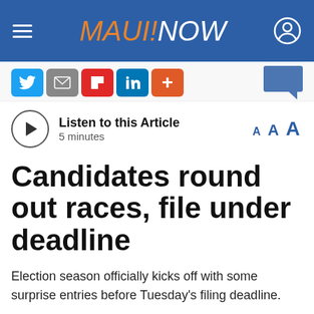MAUI NOW
[Figure (screenshot): Social share buttons: Twitter, Email, Flipboard, LinkedIn, Plus; and a chat bubble icon on the right]
Listen to this Article
5 minutes
Candidates round out races, file under deadline
Election season officially kicks off with some surprise entries before Tuesday's filing deadline.
On Maui, crowded races include the Kahului Council